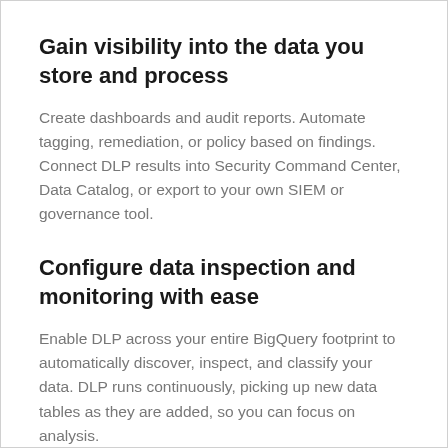Gain visibility into the data you store and process
Create dashboards and audit reports. Automate tagging, remediation, or policy based on findings. Connect DLP results into Security Command Center, Data Catalog, or export to your own SIEM or governance tool.
Configure data inspection and monitoring with ease
Enable DLP across your entire BigQuery footprint to automatically discover, inspect, and classify your data. DLP runs continuously, picking up new data tables as they are added, so you can focus on analysis.